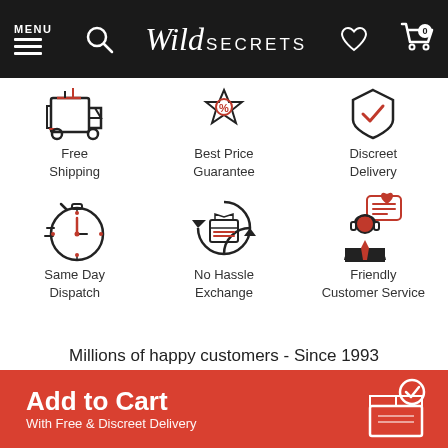[Figure (screenshot): Wild Secrets website navigation bar with MENU, search icon, Wild Secrets logo, heart icon, and cart icon with 0]
[Figure (infographic): Six feature icons: Free Shipping (package/gift icon), Best Price Guarantee (tag icon), Discreet Delivery (shield icon), Same Day Dispatch (stopwatch icon), No Hassle Exchange (circular arrows with box icon), Friendly Customer Service (customer service agent with heart and chat bubble icon)]
Millions of happy customers - Since 1993
Any questions about your order?
(885) 449 8469
[Figure (infographic): Add to Cart button with box/delivery icon]
Add to Cart
With Free & Discreet Delivery